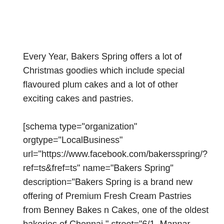Every Year, Bakers Spring offers a lot of Christmas goodies which include special flavoured plum cakes and a lot of other exciting cakes and pastries.
[schema type="organization" orgtype="LocalBusiness" url="https://www.facebook.com/bakersspring/?ref=ts&fref=ts" name="Bakers Spring" description="Bakers Spring is a brand new offering of Premium Fresh Cream Pastries from Benney Bakes n Cakes, one of the oldest bakeries of Chennai." street="6/1, Mannar swamy Koil St" city="Chennai " postalcode="600013" country="IN" email="feedback@bakersspring.com" phone="+91 44 6519 9994" ]